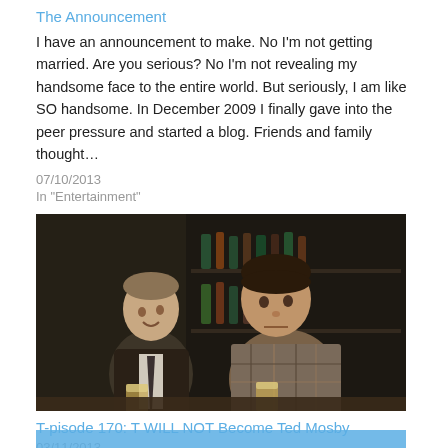The Announcement
I have an announcement to make. No I'm not getting married. Are you serious? No I'm not revealing my handsome face to the entire world. But seriously, I am like SO handsome. In December 2009 I finally gave into the peer pressure and started a blog. Friends and family thought…
07/10/2013
In "Entertainment"
[Figure (photo): Two men standing at a bar. One man in a suit with a tie smiling, the other in a plaid shirt looking serious. Bar shelves with bottles visible in background.]
T-pisode 170: T WILL NOT Become Ted Mosby
03/11/2013
In "Entertainment"